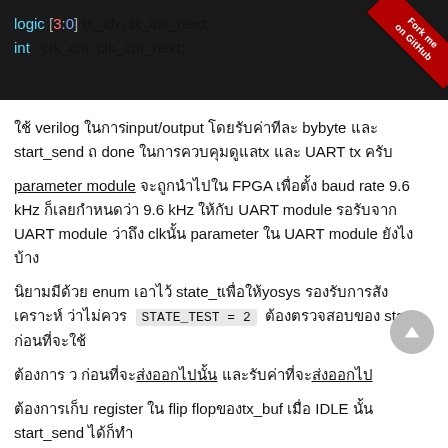[Figure (screenshot): Dark code block showing SystemVerilog code: 'logic [3:0] tx_idx, tx_idx_next;' and 'int clk_cnt, clk_cnt_next;' with a red 'Fork me on GitHub' ribbon in the top-right corner.]
ใช้ verilog ในการinput/output โดยรับค่าทีละ byte และ start_send ถ และ done ในการควบคุมดูแลtx และ UART tx ครับ
parameter module จะถูกนำไป ใน FPGA เพื่อตั้ง baud rate 9.6 kHz ก็เลยกำหนดวา 9.6 kHz ให้กับ UART module รอรับจาก UART module ว่าถึง clkนั้น parameter ใน UART module ยังไงบ้าง
นิยามมีด้วย enum เอาไว้ state_tเพื่อให้yosys รองรับการสังเคราะห์ ว่าไม่ควร  STATE_TEST = 2  ต้องตรวจสอบของ state ก่อนที่จะใช้
ต้องการ ว ก่อนที่จะส่งออกไปนั้น และรับค่าที่จะส่งออกไป
ต้องการเก็บ register ใน flip flopของtx_buf เมื่อ IDLE นั้น start_send ได้ก็ทำ